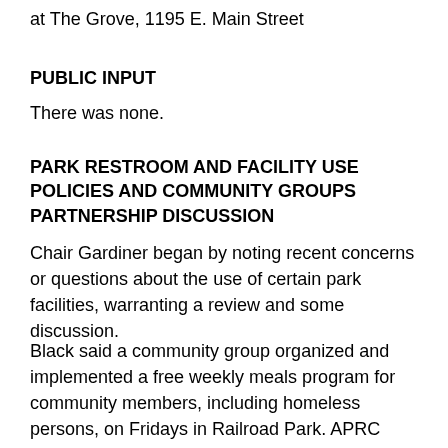at The Grove, 1195 E. Main Street
PUBLIC INPUT
There was none.
PARK RESTROOM AND FACILITY USE POLICIES AND COMMUNITY GROUPS PARTNERSHIP DISCUSSION
Chair Gardiner began by noting recent concerns or questions about the use of certain park facilities, warranting a review and some discussion.
Black said a community group organized and implemented a free weekly meals program for community members, including homeless persons, on Fridays in Railroad Park. APRC heard concerns from community members about the program's possible closure due to park impacts associated with the event but he was not aware of any closure. He suggested